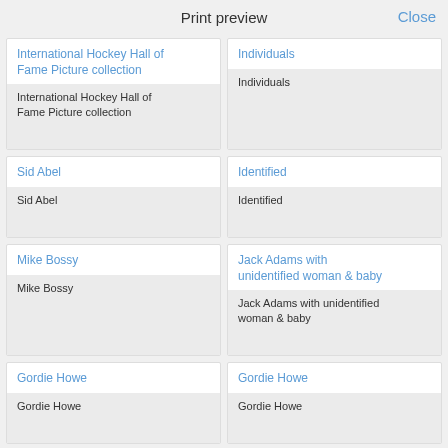Print preview   Close
International Hockey Hall of Fame Picture collection
International Hockey Hall of Fame Picture collection
Individuals
Individuals
Sid Abel
Sid Abel
Identified
Identified
Mike Bossy
Mike Bossy
Jack Adams with unidentified woman & baby
Jack Adams with unidentified woman & baby
Gordie Howe
Gordie Howe
Gordie Howe
Gordie Howe